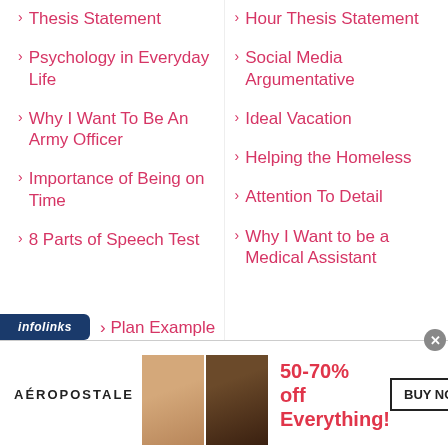Thesis Statement
Hour Thesis Statement
Psychology in Everyday Life
Social Media Argumentative
Why I Want To Be An Army Officer
Ideal Vacation
Helping the Homeless
Importance of Being on Time
Attention To Detail
8 Parts of Speech Test
Why I Want to be a Medical Assistant
[Figure (screenshot): Infolinks ad bar at bottom of page with partial link text visible]
[Figure (infographic): Aeropostale advertisement banner: 50-70% off Everything! BUY NOW with two female models]